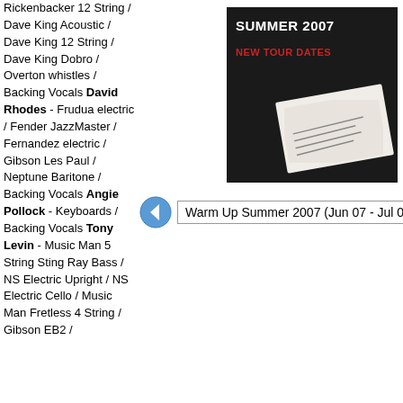Rickenbacker 12 String / Dave King Acoustic / Dave King 12 String / Dave King Dobro / Overton whistles / Backing Vocals David Rhodes - Frudua electric / Fender JazzMaster / Fernandez electric / Gibson Les Paul / Neptune Baritone / Backing Vocals Angie Pollock - Keyboards / Backing Vocals Tony Levin - Music Man 5 String Sting Ray Bass / NS Electric Upright / NS Electric Cello / Music Man Fretless 4 String / Gibson EB2 /
[Figure (photo): Summer 2007 New Tour Dates promotional image with dark background showing a card/ticket]
Warm Up Summer 2007 (Jun 07 - Jul 07)